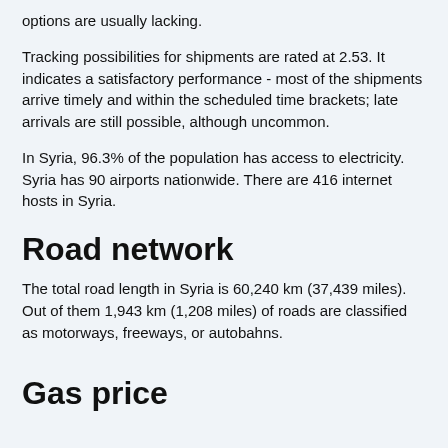options are usually lacking.
Tracking possibilities for shipments are rated at 2.53. It indicates a satisfactory performance - most of the shipments arrive timely and within the scheduled time brackets; late arrivals are still possible, although uncommon.
In Syria, 96.3% of the population has access to electricity. Syria has 90 airports nationwide. There are 416 internet hosts in Syria.
Road network
The total road length in Syria is 60,240 km (37,439 miles). Out of them 1,943 km (1,208 miles) of roads are classified as motorways, freeways, or autobahns.
Gas price